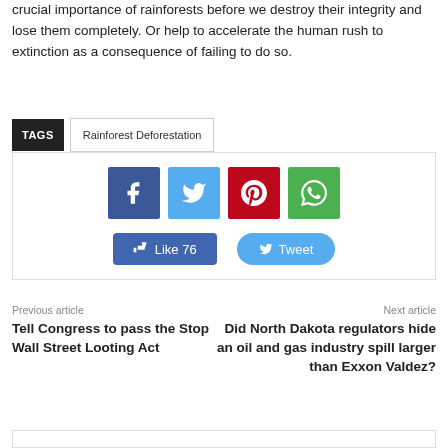crucial importance of rainforests before we destroy their integrity and lose them completely. Or help to accelerate the human rush to extinction as a consequence of failing to do so.
TAGS   Rainforest Deforestation
[Figure (infographic): Social sharing widget with Facebook, Twitter, Pinterest, WhatsApp icon buttons and Like 76 and Tweet action buttons]
Previous article
Tell Congress to pass the Stop Wall Street Looting Act
Next article
Did North Dakota regulators hide an oil and gas industry spill larger than Exxon Valdez?